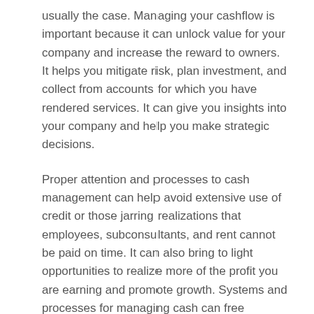usually the case. Managing your cashflow is important because it can unlock value for your company and increase the reward to owners. It helps you mitigate risk, plan investment, and collect from accounts for which you have rendered services. It can give you insights into your company and help you make strategic decisions.
Proper attention and processes to cash management can help avoid extensive use of credit or those jarring realizations that employees, subconsultants, and rent cannot be paid on time. It can also bring to light opportunities to realize more of the profit you are earning and promote growth. Systems and processes for managing cash can free business owners' time up, allowing to spend more time on creative projects and business development.